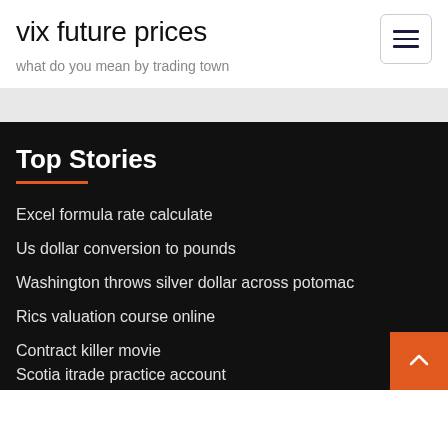vix future prices
what do you mean by trading town
Top Stories
Excel formula rate calculate
Us dollar conversion to pounds
Washington throws silver dollar across potomac
Rics valuation course online
Contract killer movie
Scotia itrade practice account